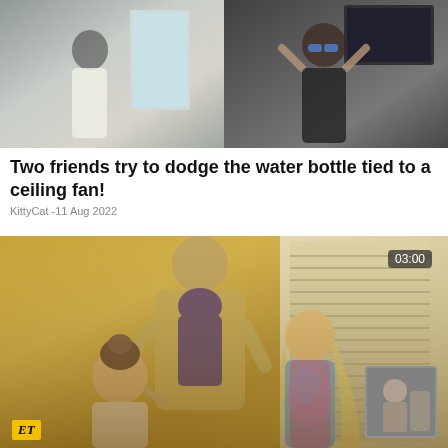[Figure (screenshot): Two side-by-side video stills: left shows a person in a white outfit in a room, right shows a person with sunglasses with hands raised in a dark setting]
Two friends try to dodge the water bottle tied to a ceiling fan!
KittyCat -11 Aug 2022
[Figure (screenshot): Video thumbnail showing three people (one tall bald man and two young women with blonde hair) posing together, with a golden/warm toned background. Timer shows 03:00. ET logo in bottom left corner. Small inset image in bottom right.]